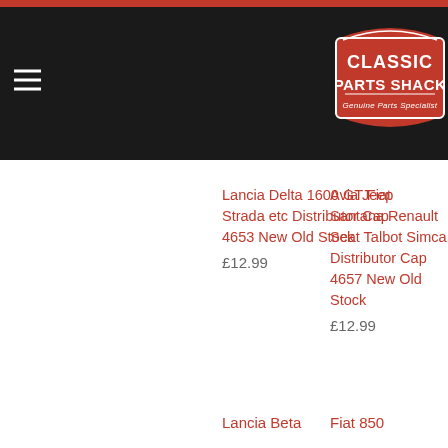Classic Parts Shack — Genuine Parts Specialist | Tel: 01582740475 | £13.99 | D CX Many Applications
Lancia Delta 1600 GT Fiat Strada etc Distributor Cap 4653 New Old Stock
£12.99
Avia Jeep Santana Renault Seat Talbot Simca Distributor Cap 4657 New Old Stock
£12.99
Lancia Beta
Fiat 850